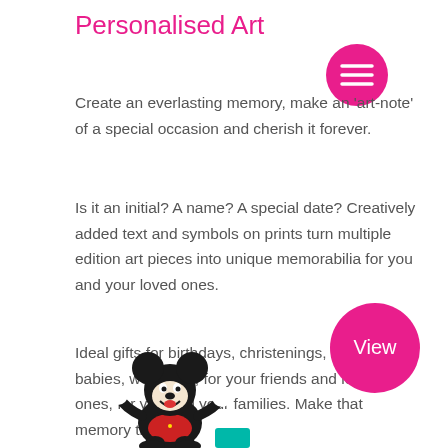Personalised Art
Create an everlasting memory, make an 'art-note' of a special occasion and cherish it forever.
Is it an initial? A name? A special date? Creatively added text and symbols on prints turn multiple edition art pieces into unique memorabilia for you and your loved ones.
Ideal gifts for birthdays, christenings, newborn babies, weddings, for your friends and loved ones, for you and your families. Make that memory timeless.
[Figure (illustration): Pink circular menu button with three horizontal white lines]
[Figure (illustration): Mickey Mouse character illustration at the bottom of the page]
[Figure (illustration): Pink circular 'View' button at the bottom right]